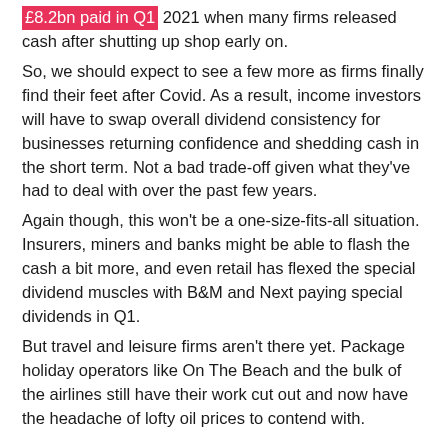£8.2bn paid in Q1 2021 when many firms released cash after shutting up shop early on.
So, we should expect to see a few more as firms finally find their feet after Covid. As a result, income investors will have to swap overall dividend consistency for businesses returning confidence and shedding cash in the short term. Not a bad trade-off given what they've had to deal with over the past few years.
Again though, this won't be a one-size-fits-all situation. Insurers, miners and banks might be able to flash the cash a bit more, and even retail has flexed the special dividend muscles with B&M and Next paying special dividends in Q1.
But travel and leisure firms aren't there yet. Package holiday operators like On The Beach and the bulk of the airlines still have their work cut out and now have the headache of lofty oil prices to contend with.
3. Dividends could hit £92bn in 2022 but watch